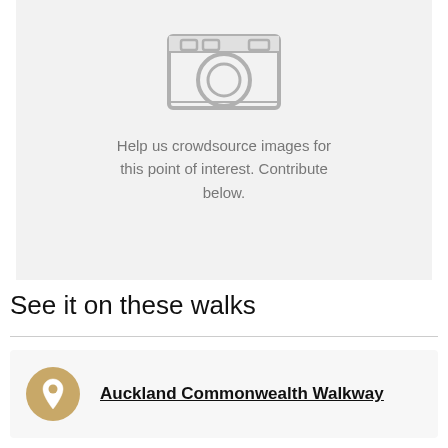[Figure (illustration): Camera icon placeholder on grey background with crowdsource message text]
Help us crowdsource images for this point of interest. Contribute below.
See it on these walks
Auckland Commonwealth Walkway